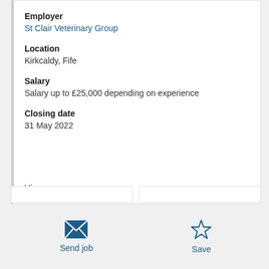Employer
St Clair Veterinary Group
Location
Kirkcaldy, Fife
Salary
Salary up to £25,000 depending on experience
Closing date
31 May 2022
View more
Send job
Save